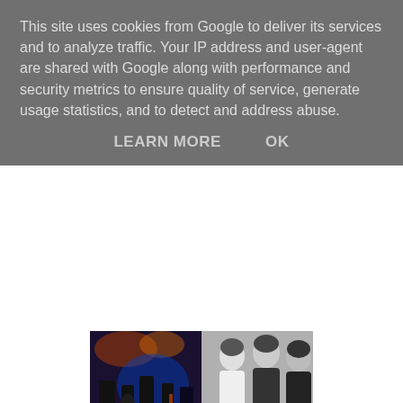This site uses cookies from Google to deliver its services and to analyze traffic. Your IP address and user-agent are shared with Google along with performance and security metrics to ensure quality of service, generate usage statistics, and to detect and address abuse.
LEARN MORE    OK
[Figure (photo): Band photo composite: left side shows a band performing on stage with blue stage lighting, right side shows three people in a black and white portrait style photo.]
St Ives September Festival 2016 - The Castle Inn
The best real ale pub in St Ives has a full and varied programme of live music in September.
Plus - on Monday nights - the popular - Fun Pub Quiz With - Lovely Aunty Liz.
The music includes: